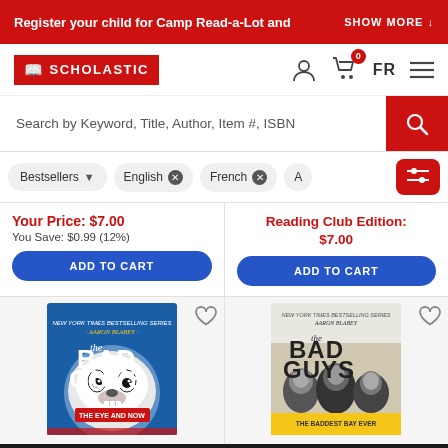Register your child for Camp Read-a-Lot and g  SHOW MORE
[Figure (screenshot): Scholastic logo in red box with book icon]
[Figure (screenshot): Navigation icons: user account, shopping cart with 0 badge, FR language toggle, hamburger menu]
Search by Keyword, Title, Author, Item #, ISBN
Bestsellers  English ✕  French ✕  A  [filter settings icon]
Your Price: $7.00
You Save: $0.99 (12%)
Reading Club Edition: $7.00
ADD TO CART
ADD TO CART
[Figure (photo): The Bad Guys book cover - blue cover with wolf face, by Aaron Blabey]
[Figure (photo): The Bad Guys book cover - black and white cover with characters, by Aaron Blabey]
[+] Share website feedback